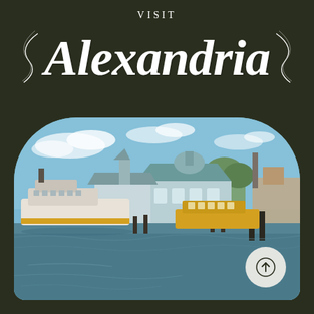VISIT Alexandria
[Figure (photo): Waterfront view of Alexandria, Virginia showing boats docked along the Potomac River with historic waterfront buildings, restaurants, and trees in the background under a blue sky.]
[Figure (other): Circular button with upward arrow icon in bottom-right corner of the photo.]